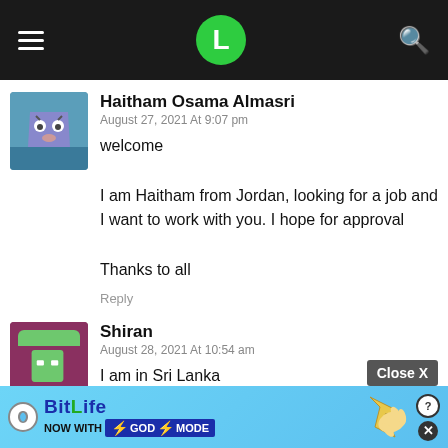[Figure (screenshot): Mobile app top navigation bar with hamburger menu, green circle logo with letter L, and search icon on dark background]
Haitham Osama Almasri
August 27, 2021 At 9:07 pm
welcome

I am Haitham from Jordan, looking for a job and I want to work with you. I hope for approval

Thanks to all
Reply
Shiran
August 28, 2021 At 10:54 am
I am in Sri Lanka

My age 21
Reply
[Figure (screenshot): BitLife advertisement banner - NOW WITH GOD MODE]